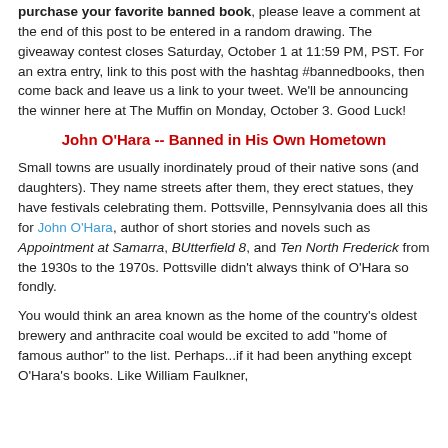purchase your favorite banned book, please leave a comment at the end of this post to be entered in a random drawing. The giveaway contest closes Saturday, October 1 at 11:59 PM, PST. For an extra entry, link to this post with the hashtag #bannedbooks, then come back and leave us a link to your tweet. We'll be announcing the winner here at The Muffin on Monday, October 3. Good Luck!
John O'Hara -- Banned in His Own Hometown
Small towns are usually inordinately proud of their native sons (and daughters). They name streets after them, they erect statues, they have festivals celebrating them. Pottsville, Pennsylvania does all this for John O'Hara, author of short stories and novels such as Appointment at Samarra, BUtterfield 8, and Ten North Frederick from the 1930s to the 1970s. Pottsville didn't always think of O'Hara so fondly.
You would think an area known as the home of the country's oldest brewery and anthracite coal would be excited to add "home of famous author" to the list. Perhaps...if it had been anything except O'Hara's books. Like William Faulkner,